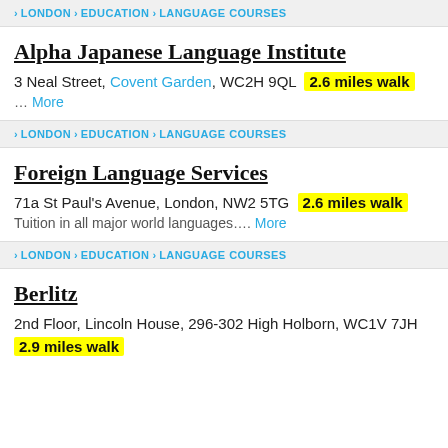> LONDON > EDUCATION > LANGUAGE COURSES
Alpha Japanese Language Institute
3 Neal Street, Covent Garden, WC2H 9QL  2.6 miles walk
... More
> LONDON > EDUCATION > LANGUAGE COURSES
Foreign Language Services
71a St Paul's Avenue, London, NW2 5TG  2.6 miles walk
Tuition in all major world languages.... More
> LONDON > EDUCATION > LANGUAGE COURSES
Berlitz
2nd Floor, Lincoln House, 296-302 High Holborn, WC1V 7JH
2.9 miles walk